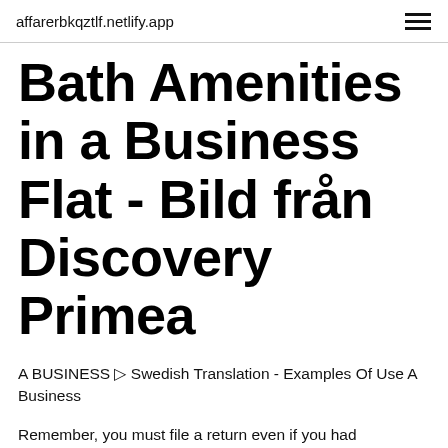affarerbkqztlf.netlify.app
Bath Amenities in a Business Flat - Bild från Discovery Primea
A BUSINESS ▷ Swedish Translation - Examples Of Use A Business
Remember, you must file a return even if you had